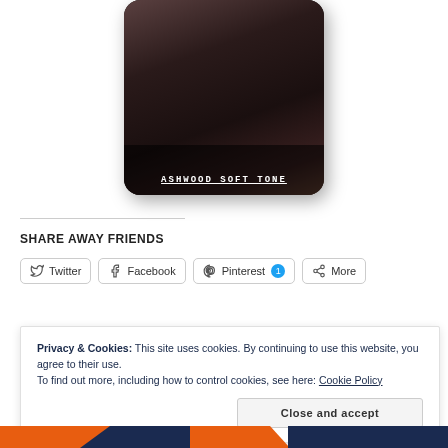[Figure (photo): Phone mockup showing a dark fashion photo with text overlay 'ASHWOOD SOFT TONE']
SHARE AWAY FRIENDS
[Figure (infographic): Social share buttons: Twitter, Facebook, Pinterest (badge: 1), More]
Loading...
Privacy & Cookies: This site uses cookies. By continuing to use this website, you agree to their use.
To find out more, including how to control cookies, see here: Cookie Policy
Close and accept